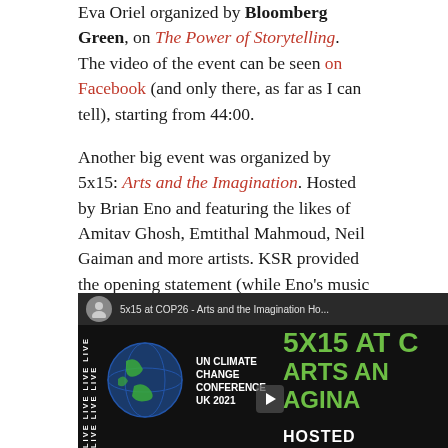Eva Oriel organized by Bloomberg Green, on The Power of Storytelling. The video of the event can be seen on Facebook (and only there, as far as I can tell), starting from 44:00.
Another big event was organized by 5x15: Arts and the Imagination. Hosted by Brian Eno and featuring the likes of Amitav Ghosh, Emtithal Mahmoud, Neil Gaiman and more artists. KSR provided the opening statement (while Eno's music played in the background) and participated in the panel. Video on YouTube.
[Figure (screenshot): YouTube video thumbnail for '5x15 at COP26 - Arts and the Imagination Ho...' showing a dark background with green bold text '5X15 AT C / ARTS AN / AGINA / HOSTED', a globe image, 'UN CLIMATE CHANGE CONFERENCE UK 2021' text, a LIVE strip on the left side, and a play button in the center.]